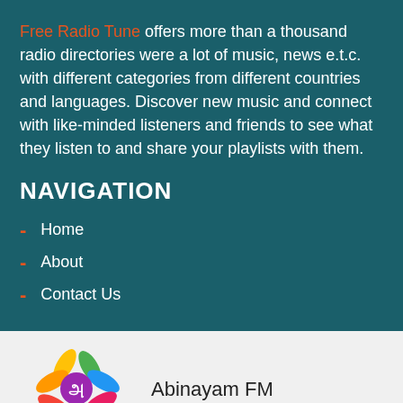Free Radio Tune offers more than a thousand radio directories were a lot of music, news e.t.c. with different categories from different countries and languages. Discover new music and connect with like-minded listeners and friends to see what they listen to and share your playlists with them.
NAVIGATION
Home
About
Contact Us
[Figure (logo): Abinayam FM colorful flower logo with text]
Abinayam FM
[Figure (other): Play button triangle icon]